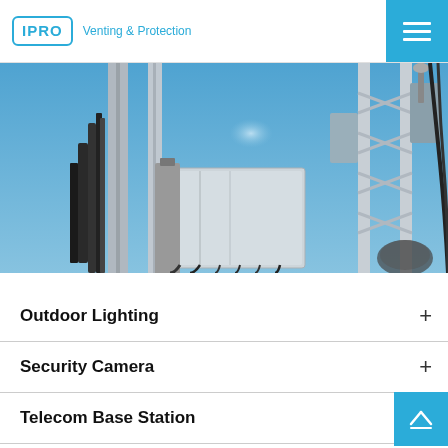IPRO Venting & Protection
[Figure (photo): Upward-angle photograph of telecom tower with cable boxes and antenna equipment against a blue sky, with a second lattice tower visible on the right]
Outdoor Lighting
Security Camera
Telecom Base Station